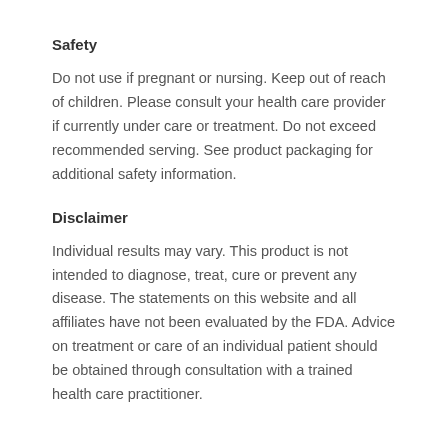Safety
Do not use if pregnant or nursing. Keep out of reach of children. Please consult your health care provider if currently under care or treatment. Do not exceed recommended serving. See product packaging for additional safety information.
Disclaimer
Individual results may vary. This product is not intended to diagnose, treat, cure or prevent any disease. The statements on this website and all affiliates have not been evaluated by the FDA. Advice on treatment or care of an individual patient should be obtained through consultation with a trained health care practitioner.